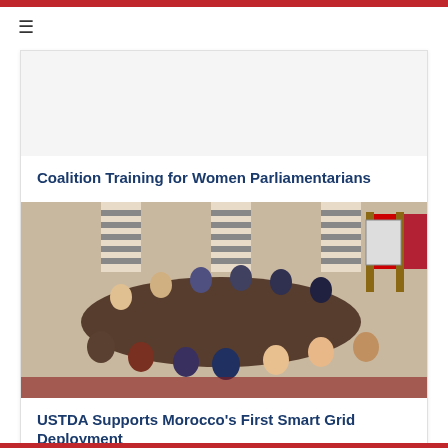Coalition Training for Women Parliamentarians
[Figure (photo): A round-table meeting in a conference room with many participants seated around a large oval table. Flags of Morocco and the United States are visible in the background along with framed portraits.]
USTDA Supports Morocco’s First Smart Grid Deployment
[Great Seal of the United States]